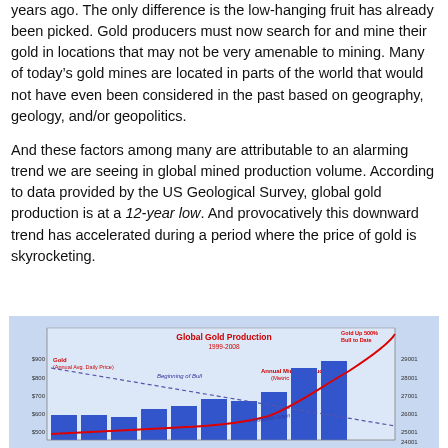years ago. The only difference is the low-hanging fruit has already been picked. Gold producers must now search for and mine their gold in locations that may not be very amenable to mining. Many of today's gold mines are located in parts of the world that would not have even been considered in the past based on geography, geology, and/or geopolitics.
And these factors among many are attributable to an alarming trend we are seeing in global mined production volume. According to data provided by the US Geological Survey, global gold production is at a 12-year low. And provocatively this downward trend has accelerated during a period where the price of gold is skyrocketing.
[Figure (bar-chart): Bar chart showing Global Gold Production from 1999-2008 with gold price (Annual Avg. Daily Price) as bars and Annual Mined Production (Metric Tons) as a declining line. Labels include 'Beginning of Bull', 'Production Down', and 'Gold Up 500% Bull to Date'. Y-axes show price ($500-$900) and production (24000-29000 metric tons).]